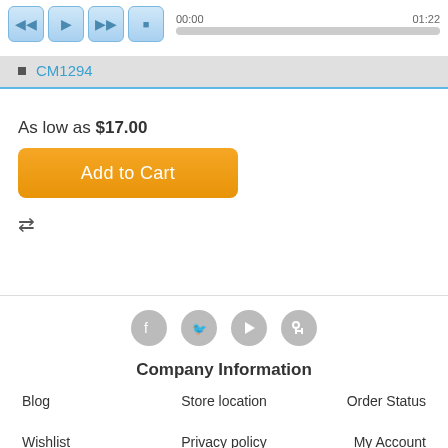[Figure (screenshot): Audio player UI with play controls and progress bar showing 00:00 and 01:22]
CM1294
As low as $17.00
Add to Cart
[Figure (other): Compare icon with two horizontal arrows pointing left and right]
[Figure (other): Social media icons: Facebook, Twitter, YouTube, RSS]
Company Information
Blog
Store location
Order Status
Wishlist
Privacy policy
My Account